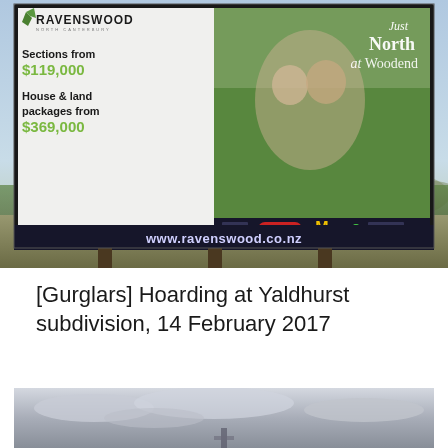[Figure (photo): Photograph of a Ravenswood billboard at Yaldhurst subdivision/Woodend area showing sections from $119,000 and house & land packages from $369,000, with couple in background and website www.ravenswood.co.nz. Billboard is mounted on poles above a grassy field with sky background.]
[Gurglars] Hoarding at Yaldhurst subdivision, 14 February 2017
[Figure (photo): Partial photograph showing a cloudy sky scene, bottom of page, appears to show another hoarding location.]